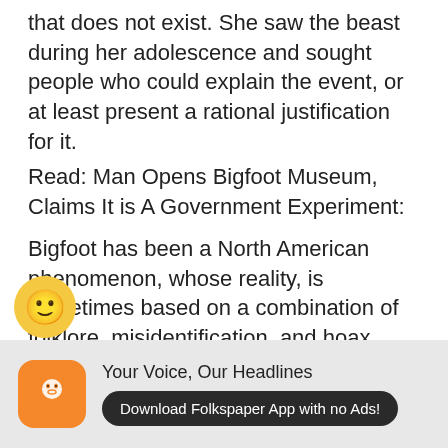that does not exist. She saw the beast during her adolescence and sought people who could explain the event, or at least present a rational justification for it.
Read: Man Opens Bigfoot Museum, Claims It is A Government Experiment:
Bigfoot has been a North American phenomenon, whose reality, is sometimes based on a combination of folklore, misidentification, and hoax, rather than an actual living animal. Hatswell confesses that though she never saw the creature again in her life, she insisted that numerous people
[Figure (other): Yellow circular emoji button with smiley face]
[Figure (other): Advertisement bar: Folkspaper app icon (orange with cat face), text 'Your Voice, Our Headlines', button 'Download Folkspaper App with no Ads!']